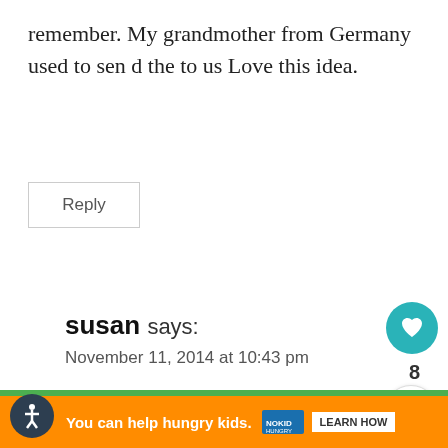remember. My grandmother from Germany used to sen d the to us Love this idea.
Reply
susan says:
November 11, 2014 at 10:43 pm
This website tracks your activities. If you continue browsing the site, you're giving us cons your activity.
WHAT'S NEXT → Easy Homemade...
You can help hungry kids.
LEARN HOW